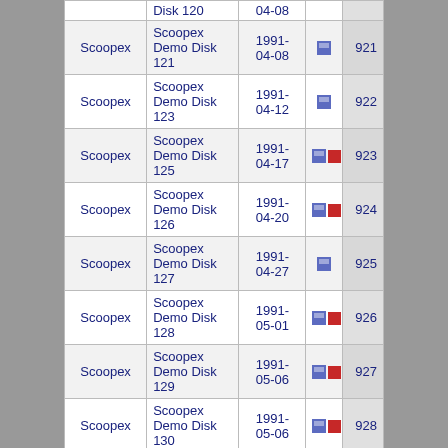| Group | Name | Date | Icons | ID |
| --- | --- | --- | --- | --- |
|  | Disk 120 | 04-08 |  |  |
| Scoopex | Scoopex Demo Disk 121 | 1991-04-08 | floppy | 921 |
| Scoopex | Scoopex Demo Disk 123 | 1991-04-12 | floppy | 922 |
| Scoopex | Scoopex Demo Disk 125 | 1991-04-17 | floppy,red | 923 |
| Scoopex | Scoopex Demo Disk 126 | 1991-04-20 | floppy,red | 924 |
| Scoopex | Scoopex Demo Disk 127 | 1991-04-27 | floppy | 925 |
| Scoopex | Scoopex Demo Disk 128 | 1991-05-01 | floppy,red | 926 |
| Scoopex | Scoopex Demo Disk 129 | 1991-05-06 | floppy,red | 927 |
| Scoopex | Scoopex Demo Disk 130 | 1991-05-06 | floppy,red | 928 |
| Scoopex | ... |  |  |  |